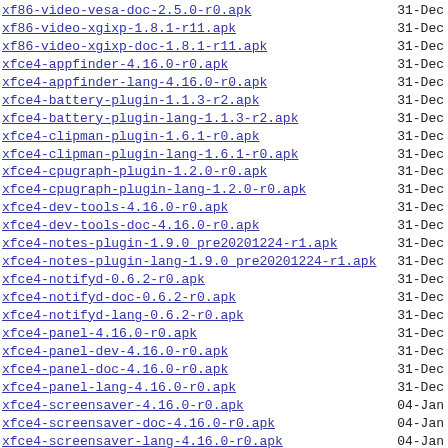xf86-video-vesa-doc-2.5.0-r0.apk  31-Dec
xf86-video-xgixp-1.8.1-r11.apk  31-Dec
xf86-video-xgixp-doc-1.8.1-r11.apk  31-Dec
xfce4-appfinder-4.16.0-r0.apk  31-Dec
xfce4-appfinder-lang-4.16.0-r0.apk  31-Dec
xfce4-battery-plugin-1.1.3-r2.apk  31-Dec
xfce4-battery-plugin-lang-1.1.3-r2.apk  31-Dec
xfce4-clipman-plugin-1.6.1-r0.apk  31-Dec
xfce4-clipman-plugin-lang-1.6.1-r0.apk  31-Dec
xfce4-cpugraph-plugin-1.2.0-r0.apk  31-Dec
xfce4-cpugraph-plugin-lang-1.2.0-r0.apk  31-Dec
xfce4-dev-tools-4.16.0-r0.apk  31-Dec
xfce4-dev-tools-doc-4.16.0-r0.apk  31-Dec
xfce4-notes-plugin-1.9.0_pre20201224-r1.apk  31-Dec
xfce4-notes-plugin-lang-1.9.0_pre20201224-r1.apk  31-Dec
xfce4-notifyd-0.6.2-r0.apk  31-Dec
xfce4-notifyd-doc-0.6.2-r0.apk  31-Dec
xfce4-notifyd-lang-0.6.2-r0.apk  31-Dec
xfce4-panel-4.16.0-r0.apk  31-Dec
xfce4-panel-dev-4.16.0-r0.apk  31-Dec
xfce4-panel-doc-4.16.0-r0.apk  31-Dec
xfce4-panel-lang-4.16.0-r0.apk  31-Dec
xfce4-screensaver-4.16.0-r0.apk  04-Jan
xfce4-screensaver-doc-4.16.0-r0.apk  04-Jan
xfce4-screensaver-lang-4.16.0-r0.apk  04-Jan
xfce4-screenshooter-1.9.8-r0.apk  04-Jan
xfce4-screenshooter-doc-1.9.8-r0.apk  04-Jan
xfce4-screenshooter-lang-1.9.8-r0.apk  04-Jan
xfce4-session-4.16.0-r0.apk  31-Dec
xfce4-session-doc-4.16.0-r0.apk  31-Dec